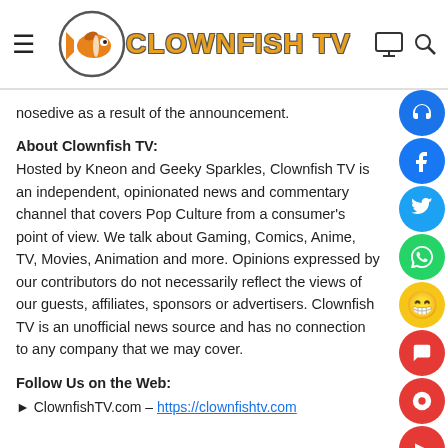Clownfish TV
nosedive as a result of the announcement.
About Clownfish TV:
Hosted by Kneon and Geeky Sparkles, Clownfish TV is an independent, opinionated news and commentary channel that covers Pop Culture from a consumer's point of view. We talk about Gaming, Comics, Anime, TV, Movies, Animation and more. Opinions expressed by our contributors do not necessarily reflect the views of our guests, affiliates, sponsors or advertisers. Clownfish TV is an unofficial news source and has no connection to any company that we may cover.
Follow Us on the Web:
▶ ClownfishTV.com – https://clownfishtv.com